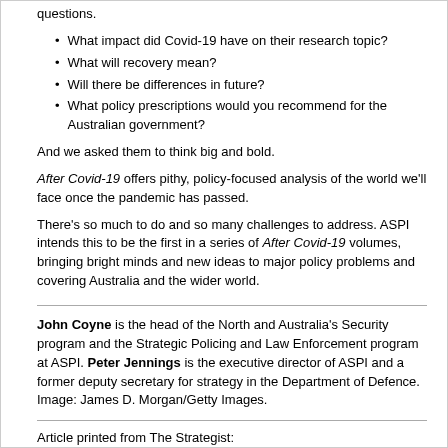questions.
What impact did Covid-19 have on their research topic?
What will recovery mean?
Will there be differences in future?
What policy prescriptions would you recommend for the Australian government?
And we asked them to think big and bold.
After Covid-19 offers pithy, policy-focused analysis of the world we'll face once the pandemic has passed.
There's so much to do and so many challenges to address. ASPI intends this to be the first in a series of After Covid-19 volumes, bringing bright minds and new ideas to major policy problems and covering Australia and the wider world.
John Coyne is the head of the North and Australia's Security program and the Strategic Policing and Law Enforcement program at ASPI. Peter Jennings is the executive director of ASPI and a former deputy secretary for strategy in the Department of Defence. Image: James D. Morgan/Getty Images.
Article printed from The Strategist: https://www.aspistrategist.org.au
URL to article: https://www.aspistrategist.org.au/after-covid-19-australia-and-the-world-rebuild/